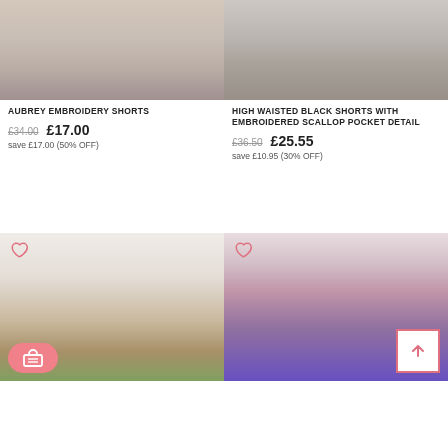[Figure (photo): Fashion product photo: lower body shot of model wearing beige/cream shorts with white platform heels]
AUBREY EMBROIDERY SHORTS
£34.00  £17.00
save £17.00 (50% OFF)
[Figure (photo): Fashion product photo: lower body shot of model wearing black shorts with red flats]
HIGH WAISTED BLACK SHORTS WITH EMBROIDERED SCALLOP POCKET DETAIL
£36.50  £25.55
save £10.95 (30% OFF)
[Figure (photo): Fashion product photo: model wearing yellow top, white cardigan with embroidery, green shorts and sunflower sunglasses]
[Figure (photo): Fashion product photo: model wearing colorful geometric pattern halter dress with pink belt]